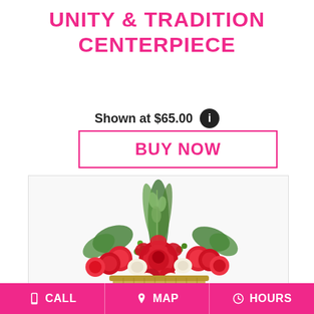UNITY & TRADITION CENTERPIECE
Shown at $65.00
BUY NOW
[Figure (photo): Floral centerpiece arrangement featuring red roses, red carnations, white flowers, and green foliage in a basket]
CALL  MAP  HOURS